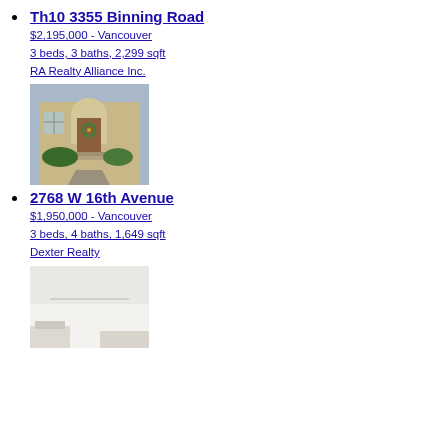Th10 3355 Binning Road
$2,195,000 - Vancouver
3 beds, 3 baths, 2,299 sqft
RA Realty Alliance Inc.
[Figure (photo): Exterior photo of a house entrance with arched doorway, wooden door with wreath, stone pathway, and green shrubs.]
2768 W 16th Avenue
$1,950,000 - Vancouver
3 beds, 4 baths, 1,649 sqft
Dexter Realty
[Figure (photo): Interior photo showing a white ceiling and partial view of a room interior.]